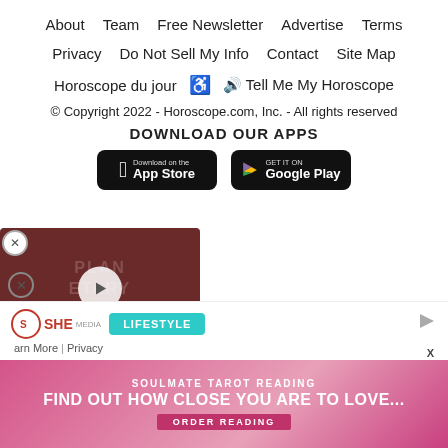About  Team  Free Newsletter  Advertise  Terms
Privacy  Do Not Sell My Info  Contact  Site Map
Horoscope du jour  ♿  🔊 Tell Me My Horoscope
© Copyright 2022 - Horoscope.com, Inc. - All rights reserved
DOWNLOAD OUR APPS
[Figure (screenshot): App Store and Google Play download buttons]
[Figure (screenshot): Video player overlay showing Daily Plan... with play button over a dark red background with PLANETARY FORECAST text]
[Figure (screenshot): SHE Media Lifestyle advertisement bar with close button, logo, lifestyle badge, play icon, and Learn More | Privacy links]
[Figure (screenshot): Promotional banner: SOULMATE TAROT READING - FIND OUT HOW CLOSE YOU ARE TO LOVE... - ORDER READING button]